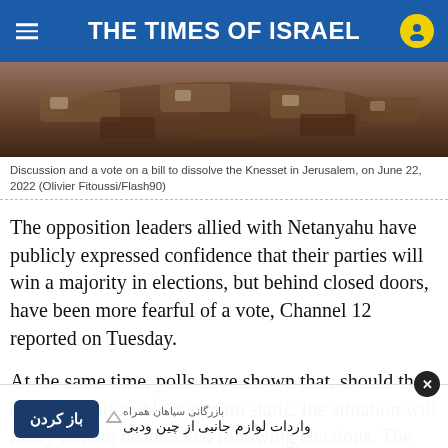THE TIMES OF ISRAEL
[Figure (photo): Aerial view of Knesset chamber with seats and tables visible from above]
Discussion and a vote on a bill to dissolve the Knesset in Jerusalem, on June 22, 2022 (Olivier Fitoussi/Flash90)
The opposition leaders allied with Netanyahu have publicly expressed confidence that their parties will win a majority in elections, but behind closed doors, have been more fearful of a vote, Channel 12 reported on Tuesday.
At the same time, polls have shown that, should the current political blocs remain static, the situation will likely remain deadlocked following elections. The po... loyal to Net... ut a